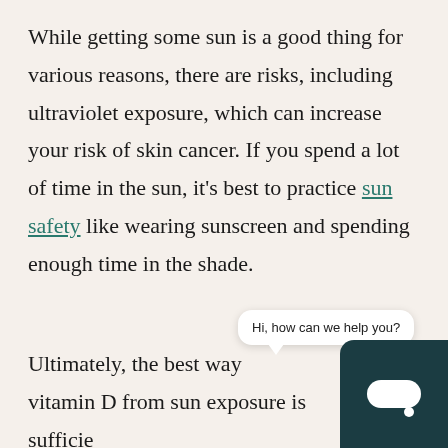While getting some sun is a good thing for various reasons, there are risks, including ultraviolet exposure, which can increase your risk of skin cancer. If you spend a lot of time in the sun, it's best to practice sun safety like wearing sunscreen and spending enough time in the shade.
Ultimately, the best way [to get] vitamin D from sun exposure is sufficie[nt for] your body is through consultation with [a doctor].
[Figure (screenshot): Chat widget overlay: a speech bubble saying 'Hi, how can we help you?' and a dark teal chat button in the bottom-right corner with a white pill-shaped icon.]